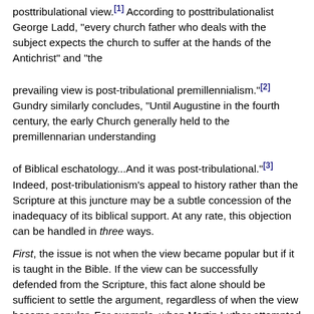posttribulational view.[1] According to posttribulationalist George Ladd, "every church father who deals with the subject expects the church to suffer at the hands of the Antichrist" and "the prevailing view is post-tribulational premillennialism."[2] Gundry similarly concludes, "Until Augustine in the fourth century, the early Church generally held to the premillennarian understanding of Biblical eschatology...And it was post-tribulational."[3] Indeed, post-tribulationism's appeal to history rather than the Scripture at this juncture may be a subtle concession of the inadequacy of its biblical support. At any rate, this objection can be handled in three ways.
First, the issue is not when the view became popular but if it is taught in the Bible. If the view can be successfully defended from the Scripture, this fact alone should be sufficient to settle the argument, regardless of when the view became popular. For example, when Martin Luther attempted to reform the Roman Catholic Church in the 16th century and bring the church back to the truths taught in Scripture, he faced the same criticism. Luther was told that his way of doing things was a departure from centuries of church tradition. Luther's response was "sola scriptura," which means that the final authority for all matters of faith and practice is the Bible and not church history, tradition, or popularity. Note Pentecost's response to the post-tribulational appeal to antiquity: "If the same line of reasoning were followed